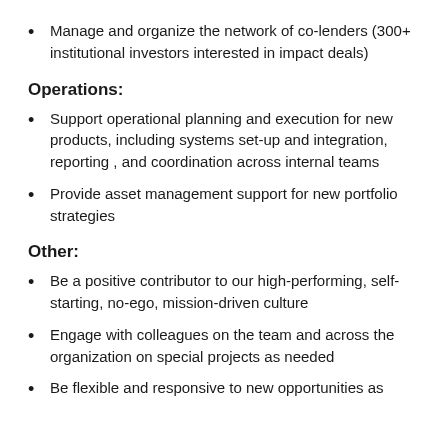Manage and organize the network of co-lenders (300+ institutional investors interested in impact deals)
Operations:
Support operational planning and execution for new products, including systems set-up and integration, reporting , and coordination across internal teams
Provide asset management support for new portfolio strategies
Other:
Be a positive contributor to our high-performing, self-starting, no-ego, mission-driven culture
Engage with colleagues on the team and across the organization on special projects as needed
Be flexible and responsive to new opportunities as